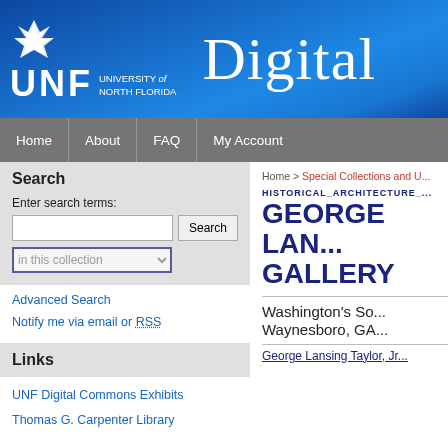[Figure (logo): University of North Florida header banner with UNF eagle logo, UNF wordmark, and 'Digital' text on blue gradient background]
Home | About | FAQ | My Account
Search
Enter search terms:
in this collection
Advanced Search
Notify me via email or RSS
Links
UNF Digital Commons Exhibits
Thomas G. Carpenter Library
Home > Special Collections and U...
HISTORICAL_ARCHITECTURE_...
GEORGE LAN... GALLERY
Washington's So... Waynesboro, GA...
George Lansing Taylor, Jr...